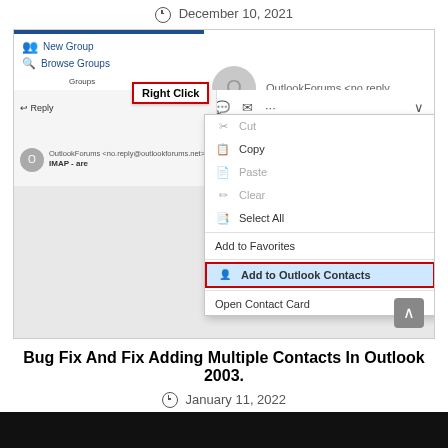December 10, 2021
[Figure (screenshot): Outlook email client screenshot showing a right-click context menu on an email sender address, with 'Right Click' label and 'Add to Outlook Contacts' menu item highlighted in red border.]
Bug Fix And Fix Adding Multiple Contacts In Outlook 2003.
January 11, 2022